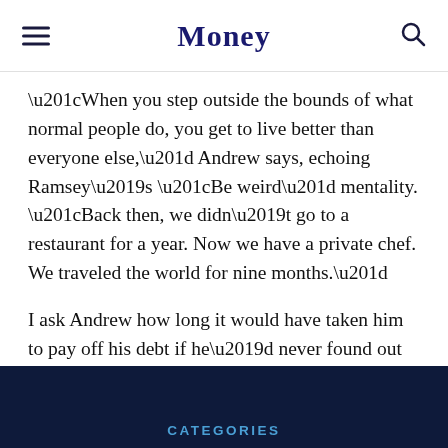Money
“When you step outside the bounds of what normal people do, you get to live better than everyone else,” Andrew says, echoing Ramsey’s “Be weird” mentality. “Back then, we didn’t go to a restaurant for a year. Now we have a private chef. We traveled the world for nine months.”
I ask Andrew how long it would have taken him to pay off his debt if he’d never found out about Dave Ramsey.
“Honestly,” he says, “it could have taken 20 years.”
CATEGORIES